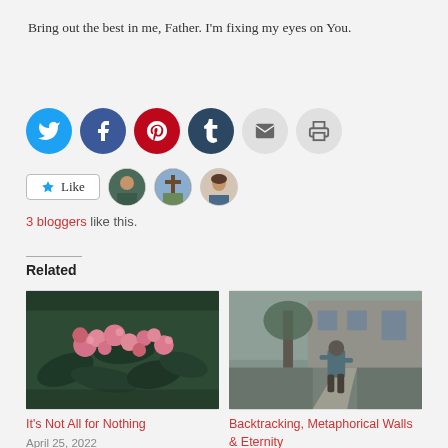Bring out the best in me, Father. I'm fixing my eyes on You.
[Figure (infographic): Row of social sharing icon buttons: Twitter (blue), Facebook (dark blue), Pinterest (red), Tumblr (dark navy), Email (light gray), Print (light gray)]
[Figure (infographic): Like button with star icon and three blogger avatar photos]
3 bloggers like this.
Related
[Figure (photo): Pink flowers with dark green leaves]
It's Not All for Nothing
April 25, 2022
In "Faith"
[Figure (photo): Person walking away down a sidewalk path near a house]
Backtracking, Metaphorical Walls & Eternity
February 6, 2015